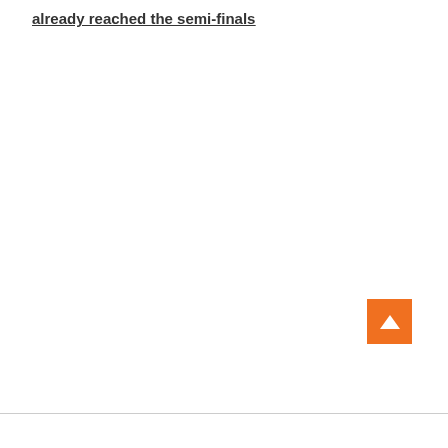already reached the semi-finals
[Figure (other): Orange back-to-top button with upward arrow chevron, positioned in the bottom-right corner of the page]